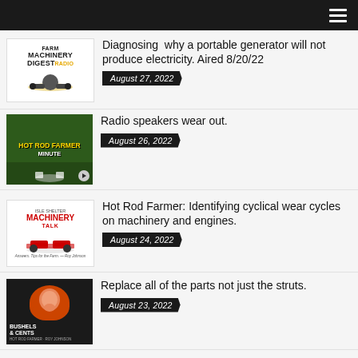[Navigation bar with hamburger menu]
[Figure (logo): Farm Machinery Digest Radio logo with tractor illustration]
Diagnosing  why a portable generator will not produce electricity. Aired 8/20/22
August 27, 2022
[Figure (photo): Hot Rod Farmer Minute thumbnail with man in white t-shirt at farm equipment show]
Radio speakers wear out.
August 26, 2022
[Figure (logo): Machinery Talk podcast logo with red tractor]
Hot Rod Farmer: Identifying cyclical wear cycles on machinery and engines.
August 24, 2022
[Figure (photo): Bushels & Cents podcast thumbnail with man in red shirt smiling]
Replace all of the parts not just the struts.
August 23, 2022